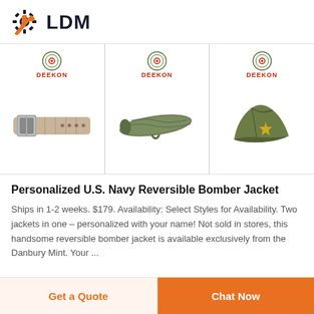[Figure (logo): LDM brand logo with gear and wrench icon in dark blue/orange and bold LDM text]
[Figure (photo): Three military/tactical product images: a webbing belt with buckle, a green rifle bag/carry case, and an olive green military garrison cap with gold star — each with Deekon brand badge]
Personalized U.S. Navy Reversible Bomber Jacket
Ships in 1-2 weeks. $179. Availability: Select Styles for Availability. Two jackets in one – personalized with your name! Not sold in stores, this handsome reversible bomber jacket is available exclusively from the Danbury Mint. Your ...
Get a Quote
Chat Now